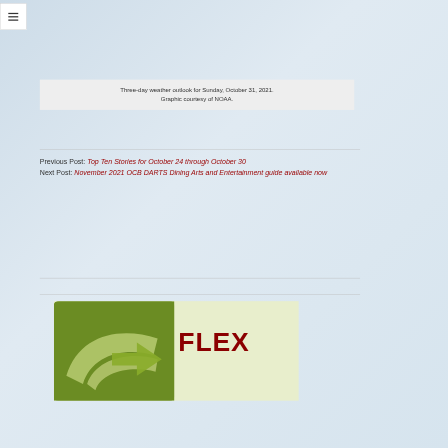☰ (menu icon)
Three-day weather outlook for Sunday, October 31, 2021. Graphic courtesy of NOAA.
Previous Post: Top Ten Stories for October 24 through October 30
Next Post: November 2021 OCB DARTS Dining Arts and Entertainment guide available now
[Figure (logo): Green and cream logo box with olive/green background on left side and FLEX text in dark red on right side]